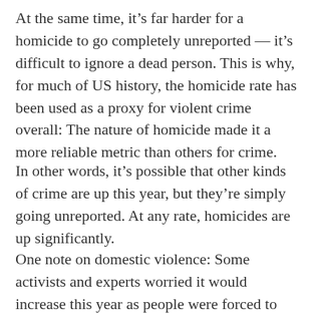At the same time, it's far harder for a homicide to go completely unreported — it's difficult to ignore a dead person. This is why, for much of US history, the homicide rate has been used as a proxy for violent crime overall: The nature of homicide made it a more reliable metric than others for crime.
In other words, it's possible that other kinds of crime are up this year, but they're simply going unreported. At any rate, homicides are up significantly.
One note on domestic violence: Some activists and experts worried it would increase this year as people were forced to stay home more often. The Council on Criminal Justice report and City Crime Stats data both suggest that the...